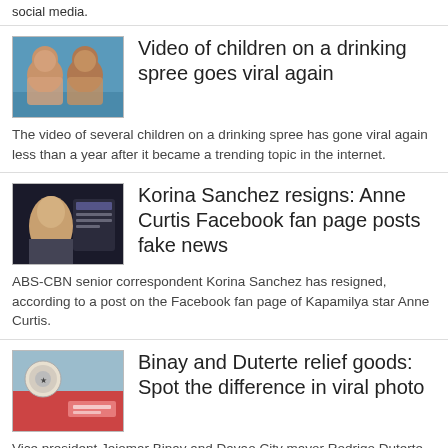social media.
[Figure (photo): Thumbnail photo of two young children]
Video of children on a drinking spree goes viral again
The video of several children on a drinking spree has gone viral again less than a year after it became a trending topic in the internet.
[Figure (photo): Thumbnail screenshot of Korina Sanchez on a dark background]
Korina Sanchez resigns: Anne Curtis Facebook fan page posts fake news
ABS-CBN senior correspondent Korina Sanchez has resigned, according to a post on the Facebook fan page of Kapamilya star Anne Curtis.
[Figure (photo): Thumbnail image showing Binay and Duterte relief goods]
Binay and Duterte relief goods: Spot the difference in viral photo
Vice president Jejomar Binay and Davao City mayor Rodrigo Duterte both sent relief goods as donation to Super Typhoon Yolanda victims.